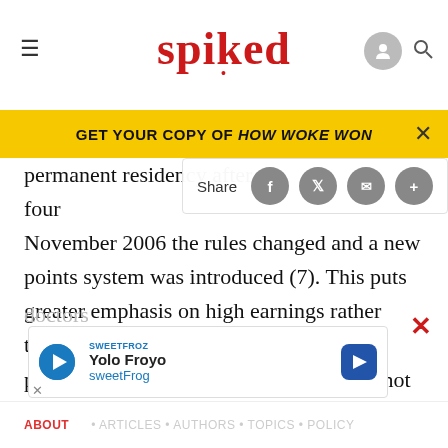spiked
GET YOUR COPY OF HOW WOKE WON
permanent residency after four years. In November 2006 the rules changed and a new points system was introduced (7). This puts greater emphasis on high earnings rather than work experience, disregards any previous UK work experience, and does not give priority points for GPs (8). Since the new rules apply retrospectively, an estimated 6,000 people who entered under the old criteria may have to leave the UK, including doctors. Hundreds of doctors
[Figure (screenshot): Share bar with social media buttons (Facebook, Twitter, email, plus)]
[Figure (screenshot): Advertisement: Yolo Froyo sweetFrog ad with blue play icon and navigation arrow]
ABOUT